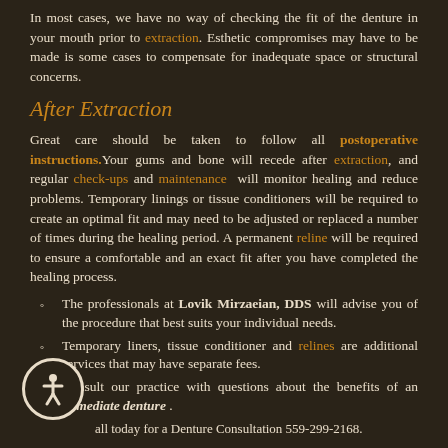In most cases, we have no way of checking the fit of the denture in your mouth prior to extraction. Esthetic compromises may have to be made is some cases to compensate for inadequate space or structural concerns.
After Extraction
Great care should be taken to follow all postoperative instructions. Your gums and bone will recede after extraction, and regular check-ups and maintenance will monitor healing and reduce problems. Temporary linings or tissue conditioners will be required to create an optimal fit and may need to be adjusted or replaced a number of times during the healing period. A permanent reline will be required to ensure a comfortable and an exact fit after you have completed the healing process.
The professionals at Lovik Mirzaeian, DDS will advise you of the procedure that best suits your individual needs.
Temporary liners, tissue conditioner and relines are additional services that may have separate fees.
Consult our practice with questions about the benefits of an immediate denture .
Call today for a Denture Consultation 559-299-2168.